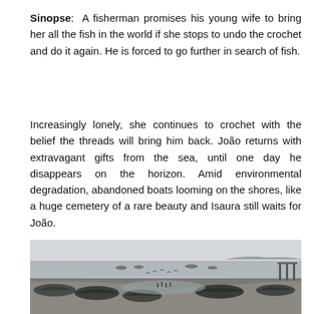Sinopse: A fisherman promises his young wife to bring her all the fish in the world if she stops to undo the crochet and do it again. He is forced to go further in search of fish.
Increasingly lonely, she continues to crochet with the belief the threads will bring him back. João returns with extravagant gifts from the sea, until one day he disappears on the horizon. Amid environmental degradation, abandoned boats looming on the shores, like a huge cemetery of a rare beauty and Isaura still waits for João.
[Figure (photo): Black and white photograph of a coastal shoreline with several wooden boats resting on a muddy/sandy beach. Birds are visible in the background, and a pier or dock structure is visible on the right side. The sky is overcast and hazy.]